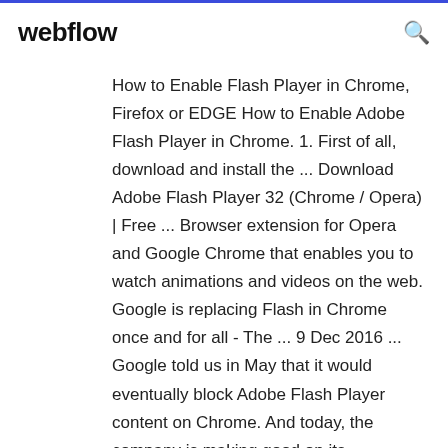webflow
How to Enable Flash Player in Chrome, Firefox or EDGE How to Enable Adobe Flash Player in Chrome. 1. First of all, download and install the ... Download Adobe Flash Player 32 (Chrome / Opera) | Free ... Browser extension for Opera and Google Chrome that enables you to watch animations and videos on the web. Google is replacing Flash in Chrome once and for all - The ... 9 Dec 2016 ... Google told us in May that it would eventually block Adobe Flash Player content on Chrome. And today, the company is making good on its ...
Activer Adobe Flash Player sous Chrome - Comment Ca Marche 24 janv. 2018 ... Dans ses